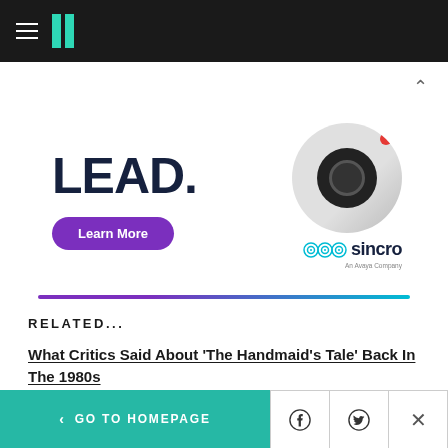HuffPost navigation header with hamburger menu and logo
[Figure (screenshot): Advertisement for Sincro (An Avaya Company) showing 'LEAD.' in bold text with a purple 'Learn More' button, Sincro logo with sound wave icons, and a camera/headset image in the top right]
RELATED...
What Critics Said About 'The Handmaid's Tale' Back In The 1980s
'Handmaid's Tale' Waitlists Surge In Libraries Across
< GO TO HOMEPAGE | Facebook | Twitter | X (close)